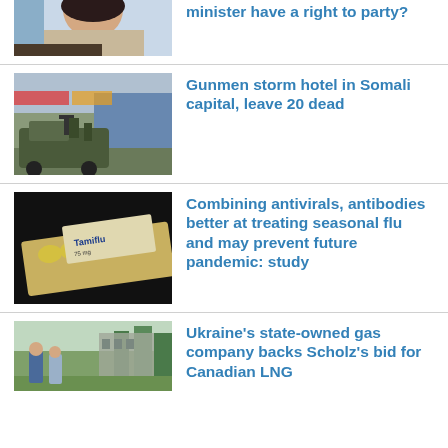[Figure (photo): Partial photo of a woman with dark hair]
minister have a right to party?
[Figure (photo): Military truck with gunmen in Somali capital]
Gunmen storm hotel in Somali capital, leave 20 dead
[Figure (photo): Tamiflu 75mg blister pack on black background]
Combining antivirals, antibodies better at treating seasonal flu and may prevent future pandemic: study
[Figure (photo): Two men talking outdoors near an abandoned building]
Ukraine's state-owned gas company backs Scholz's bid for Canadian LNG